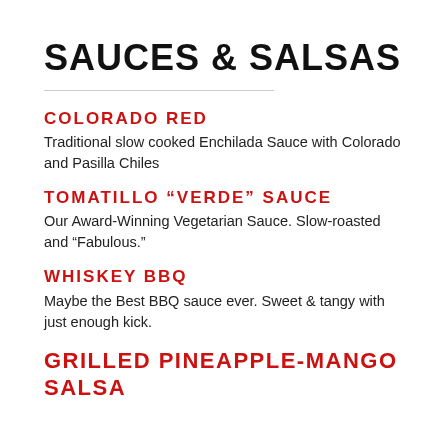SAUCES & SALSAS
COLORADO RED
Traditional slow cooked Enchilada Sauce with Colorado and Pasilla Chiles
TOMATILLO “VERDE” SAUCE
Our Award-Winning Vegetarian Sauce. Slow-roasted and “Fabulous.”
WHISKEY BBQ
Maybe the Best BBQ sauce ever. Sweet & tangy with just enough kick.
GRILLED PINEAPPLE-MANGO SALSA